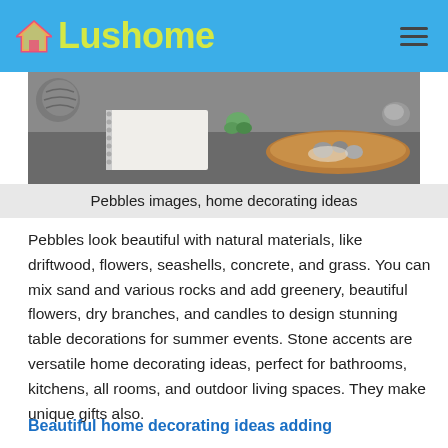Lushome
[Figure (photo): Close-up photo of a tabletop scene with natural materials: a spiral-bound notebook, a small green succulent, a wooden tray with pebbles and salt, and textured yarns, on a dark surface.]
Pebbles images, home decorating ideas
Pebbles look beautiful with natural materials, like driftwood, flowers, seashells, concrete, and grass. You can mix sand and various rocks and add greenery, beautiful flowers, dry branches, and candles to design stunning table decorations for summer events. Stone accents are versatile home decorating ideas, perfect for bathrooms, kitchens, all rooms, and outdoor living spaces. They make unique gifts also.
Beautiful home decorating ideas adding